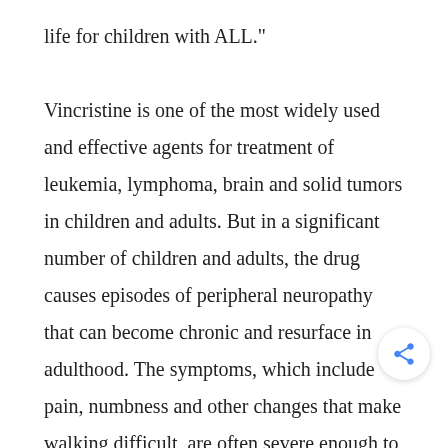life for children with ALL."

Vincristine is one of the most widely used and effective agents for treatment of leukemia, lymphoma, brain and solid tumors in children and adults. But in a significant number of children and adults, the drug causes episodes of peripheral neuropathy that can become chronic and resurface in adulthood. The symptoms, which include pain, numbness and other changes that make walking difficult, are often severe enough to delay treatment. Such delays can compromise the likelihood of a c...

Currently there is no way to identify patients who